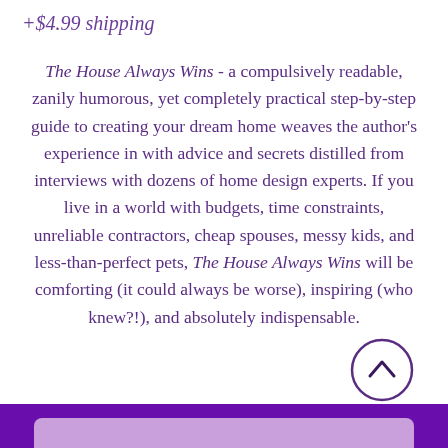+$4.99 shipping
The House Always Wins - a compulsively readable, zanily humorous, yet completely practical step-by-step guide to creating your dream home weaves the author's experience in with advice and secrets distilled from interviews with dozens of home design experts. If you live in a world with budgets, time constraints, unreliable contractors, cheap spouses, messy kids, and less-than-perfect pets, The House Always Wins will be comforting (it could always be worse), inspiring (who knew?!), and absolutely indispensable.
[Figure (other): Purple scroll-to-top circular button with upward chevron arrow]